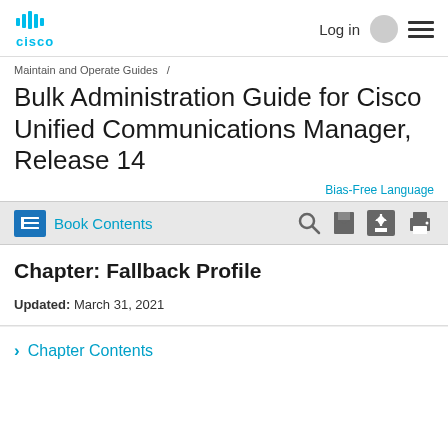Cisco | Log in | [hamburger menu]
Maintain and Operate Guides /
Bulk Administration Guide for Cisco Unified Communications Manager, Release 14
Bias-Free Language
Book Contents
Chapter: Fallback Profile
Updated: March 31, 2021
> Chapter Contents